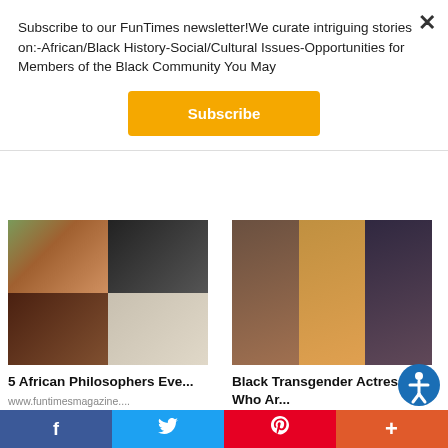Subscribe to our FunTimes newsletter!We curate intriguing stories on:-African/Black History-Social/Cultural Issues-Opportunities for Members of the Black Community You May
[Figure (other): Subscribe button — orange/yellow rounded rectangle with white bold text 'Subscribe']
[Figure (photo): 2x2 collage of African philosophers: a historical portrait in color (top-left), a modern Black man (top-right), an elderly woman (bottom-left), a black-and-white portrait of a man (bottom-right)]
5 African Philosophers Eve...
www.funtimesmagazine....
[Figure (photo): 3-panel collage of Black transgender actresses: a woman in yellow dress (left), a smiling woman in orange (center), a woman in black top (right)]
Black Transgender Actresses Who Ar...
www.funtimesmagazine....
Facebook | Twitter | Pinterest | More